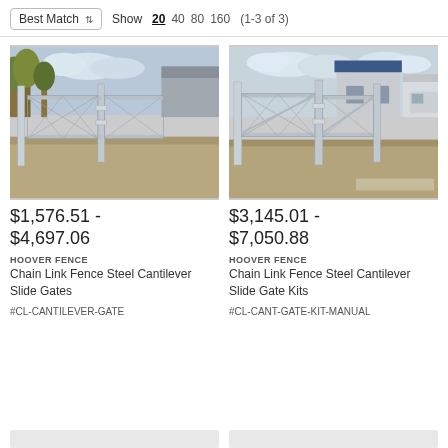Best Match  Show 20 40 80 160 (1-3 of 3)
[Figure (photo): Chain link fence steel cantilever slide gate installed at a gravel yard with trees and buildings in background]
$1,576.51 - $4,697.06
HOOVER FENCE
Chain Link Fence Steel Cantilever Slide Gates
#CL-CANTILEVER-GATE
[Figure (photo): Chain link fence steel cantilever slide gate kit installed at a property with blue-roofed building and RV in background]
$3,145.01 - $7,050.88
HOOVER FENCE
Chain Link Fence Steel Cantilever Slide Gate Kits
#CL-CANT-GATE-KIT-MANUAL